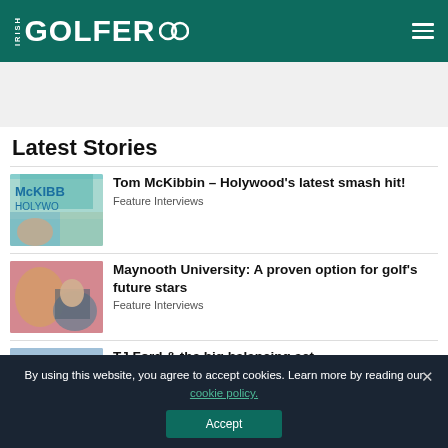IRISH GOLFER
Latest Stories
[Figure (photo): Tom McKibbin golf photo with McKibe Hollywood sign overlay]
Tom McKibbin – Holywood's latest smash hit!
Feature Interviews
[Figure (photo): Maynooth University golf feature photo with golfer and student]
Maynooth University: A proven option for golf's future stars
Feature Interviews
[Figure (photo): TJ Ford holding trophy on golf course]
TJ Ford & the big balancing act
Feature Interviews
By using this website, you agree to accept cookies. Learn more by reading our cookie policy.